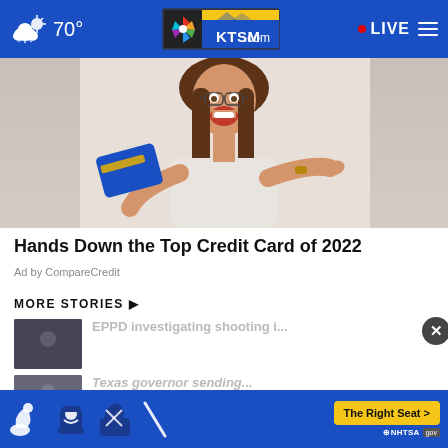70° KTSM.com LIVE
[Figure (photo): Woman with glasses smiling excitedly, holding a blue credit card and pointing at it]
Hands Down the Top Credit Card of 2022
Ad by CompareCredit
MORE STORIES ▶
EPPD investigating shooting i...
Texas governor sending...
[Figure (infographic): NHTSA The Right Seat safety campaign ad with child seat icons and yellow button]